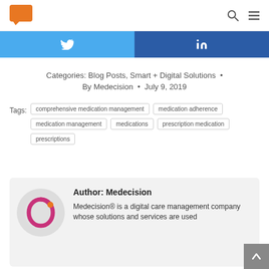[Figure (logo): Orange speech bubble logo icon]
[Figure (infographic): Twitter and LinkedIn social share buttons]
Categories: Blog Posts, Smart + Digital Solutions • By Medecision • July 9, 2019
Tags: comprehensive medication management, medication adherence, medication management, medications, prescription medication, prescriptions
Author: Medecision
Medecision® is a digital care management company whose solutions and services are used